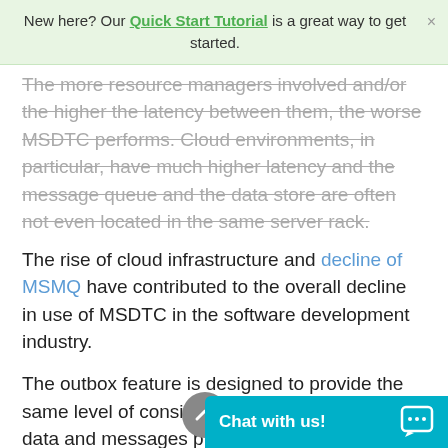New here? Our Quick Start Tutorial is a great way to get started.
The more resource managers involved and/or the higher the latency between them, the worse MSDTC performs. Cloud environments, in particular, have much higher latency and the message queue and the data store are often not even located in the same server rack.
The rise of cloud infrastructure and decline of MSMQ have contributed to the overall decline in use of MSDTC in the software development industry.
The outbox feature is designed to provide the same level of consistency between business data and messages provided by MSDTC, without the need to coordinate multiple resource managers.
Enabling the o